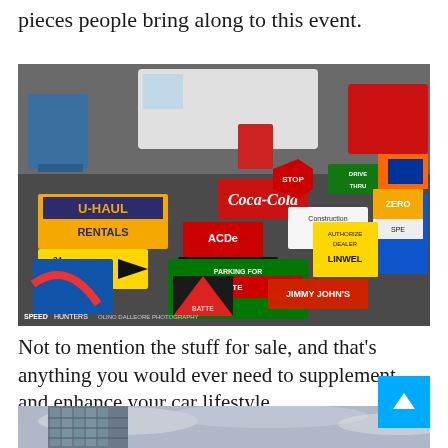pieces people bring along to this event.
[Figure (photo): A large collection of vintage and commercial signs laid out on pavement at an outdoor event, including U-Haul Rentals, Coca-Cola, Interstate Batteries, Jimmy John's, ACDelco Batteries, and many other colorful signs. Watermark reads SPEEDHUNTERS OLINO DALLEORE PHOTOGRAPHY.]
Not to mention the stuff for sale, and that's anything you would ever need to supplement and enhance your car lifestyle.
[Figure (photo): Partial view of a modern glass building against an overcast sky, cropped at the bottom of the page.]